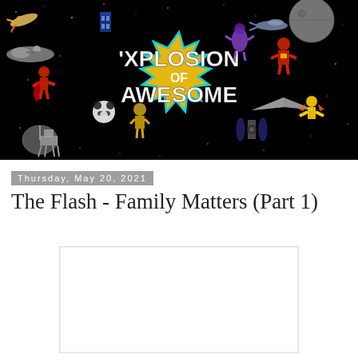[Figure (illustration): Xplosion of Awesome blog banner: black starfield background with various sci-fi and superhero characters/vehicles surrounding a yellow starburst logo reading 'XPLOSION OF AWESOME' in white bold text with teal outline.]
Thursday, May 20, 2021
The Flash - Family Matters (Part 1)
[Figure (other): Blank/white embedded media or video placeholder rectangle]